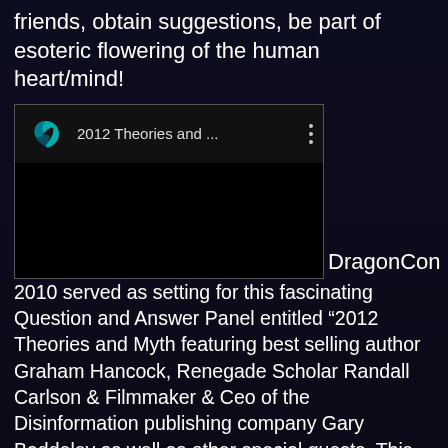friends, obtain suggestions, be part of esoteric flowering of the human heart/mind!
[Figure (screenshot): YouTube-style video thumbnail showing a dark player interface with a teal/cyan spiral logo icon on the left, the title '2012 Theories and ...' in the center, and a vertical three-dot menu icon on the right. The main video area is black.]
DragonCon 2010 served as setting for this fascinating Question and Answer Panel entitled “2012 Theories and Myth featuring best selling author Graham Hancock, Renegade Scholar Randall Carlson & Filmmaker & Ceo of the Disinformation publishing company Gary Baddeley as well as other special guests. This was recorded on Sunday September 5th 2010 during the annual DragonCon celebration in Atlanta, Ga
Graham Hancock and Randall Carlson both explain the reality of a potential lost chapter of